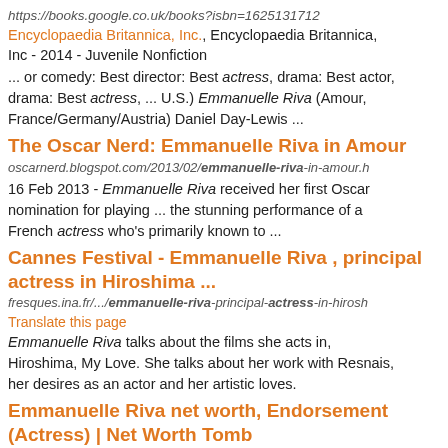https://books.google.co.uk/books?isbn=1625131712
Encyclopaedia Britannica, Inc., Encyclopaedia Britannica, Inc - 2014 - Juvenile Nonfiction
... or comedy: Best director: Best actress, drama: Best actor, drama: Best actress, ... U.S.) Emmanuelle Riva (Amour, France/Germany/Austria) Daniel Day-Lewis ...
The Oscar Nerd: Emmanuelle Riva in Amour
oscarnerd.blogspot.com/2013/02/emmanuelle-riva-in-amour.h
16 Feb 2013 - Emmanuelle Riva received her first Oscar nomination for playing ... the stunning performance of a French actress who's primarily known to ...
Cannes Festival - Emmanuelle Riva , principal actress in Hiroshima ...
fresques.ina.fr/.../emmanuelle-riva-principal-actress-in-hirosh
Translate this page
Emmanuelle Riva talks about the films she acts in, Hiroshima, My Love. She talks about her work with Resnais, her desires as an actor and her artistic loves.
Emmanuelle Riva net worth, Endorsement (Actress) | Net Worth Tomb
networthtomb.com/emmanuelle-riva-net-worth-endorsement-a